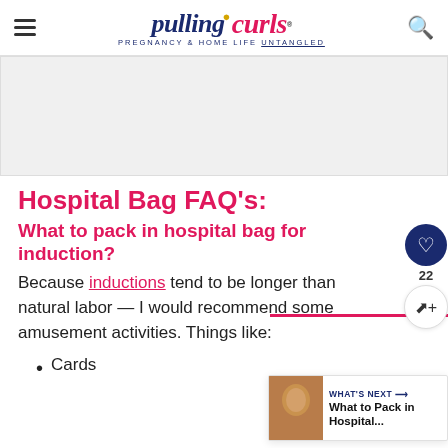pulling curls — PREGNANCY & HOME LIFE UNTANGLED
[Figure (other): Advertisement banner placeholder (gray rectangle)]
Hospital Bag FAQ's:
What to pack in hospital bag for induction?
Because inductions tend to be longer than natural labor — I would recommend some amusement activities.  Things like:
Cards